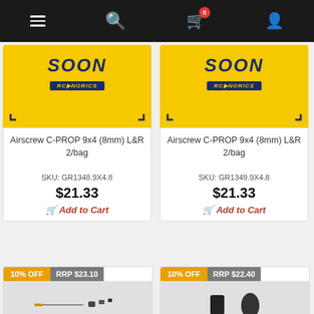Navigation bar with menu, search, cart (0), and user icons
[Figure (screenshot): Coming Soon product banner - yellow background with SOON text and RC logo, for Airscrew C-PROP 9x4 (8mm) L&R 2/bag]
Airscrew C-PROP 9x4 (8mm) L&R 2/bag
SKU: GR1348.9X4.8
$21.33
Add to Cart
[Figure (screenshot): Coming Soon product banner - yellow background with SOON text and RC logo, for Airscrew C-PROP 9x4 (8mm) L&R 2/bag]
Airscrew C-PROP 9x4 (8mm) L&R 2/bag
SKU: GR1349.9X4.8
$21.33
Add to Cart
10% OFF
RRP $23.10
[Figure (photo): Small RC car parts - pin/needle, small screw parts on grey background]
10% OFF
RRP $22.40
[Figure (photo): Small RC car parts - two small black plastic pieces on grey background]